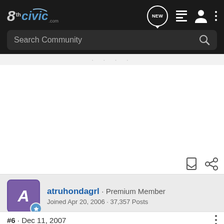8thCivic.com · Search Community
[Figure (screenshot): Forum website header with 8thCivic.com logo, navigation icons (NEW, list, user, dots), and a Search Community search bar on dark background]
· · · (separator dots)
[Figure (other): User avatar: purple square with letter A, blue badge icon, bookmark and share icons at bottom right]
atruhondagrl · Premium Member
Joined Apr 20, 2006 · 37,357 Posts
#6 · Dec 11, 2007
Jeebus, those wheels are bad. Damn that P.O.S. is in Texas. I'm ashamed and I'm new here.